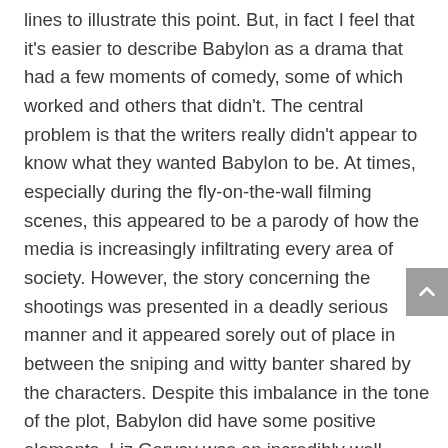lines to illustrate this point. But, in fact I feel that it's easier to describe Babylon as a drama that had a few moments of comedy, some of which worked and others that didn't. The central problem is that the writers really didn't appear to know what they wanted Babylon to be. At times, especially during the fly-on-the-wall filming scenes, this appeared to be a parody of how the media is increasingly infiltrating every area of society. However, the story concerning the shootings was presented in a deadly serious manner and it appeared sorely out of place in between the sniping and witty banter shared by the characters. Despite this imbalance in the tone of the plot, Babylon did have some positive elements. Liz Garvey was an incredibly well-drawn character and was played with zest by the brilliant Brit Marling. Her confrontations with Bertie Carvel's Finn arguably provided some of